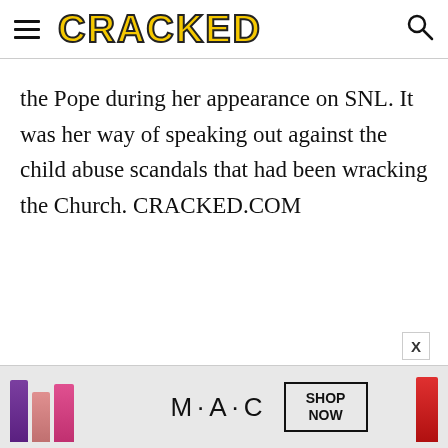CRACKED
the Pope during her appearance on SNL. It was her way of speaking out against the child abuse scandals that had been wracking the Church. CRACKED.COM
[Figure (photo): MAC cosmetics advertisement showing lipsticks and a SHOP NOW call-to-action box]